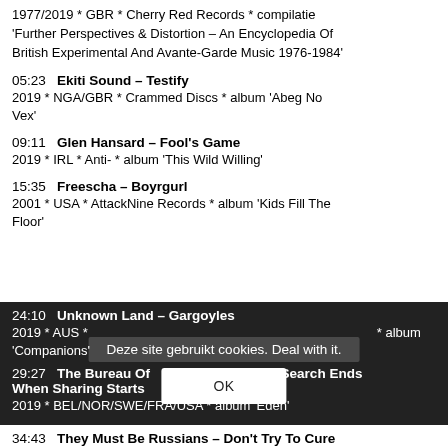1977/2019 * GBR * Cherry Red Records * compilatie 'Further Perspectives & Distortion – An Encyclopedia Of British Experimental And Avante-Garde Music 1976-1984'
05:23  Ekiti Sound – Testify
2019 * NGA/GBR * Crammed Discs * album 'Abeg No Vex'
09:11  Glen Hansard – Fool's Game
2019 * IRL * Anti- * album 'This Wild Willing'
15:35  Freescha – Boyrgurl
2001 * USA * AttackNine Records * album 'Kids Fill The Floor'
24:10  Unknown Land – Gargoyles
2019 * AUS * ...album 'Companions'
Deze site gebruikt cookies. Deal with it.
OK
29:27  The Bureau Of Tourism – Search Ends When Sharing Starts
2019 * BEL/NOR/SWE/FRA/USA * album 'Eden'
34:43  They Must Be Russians – Don't Try To Cure